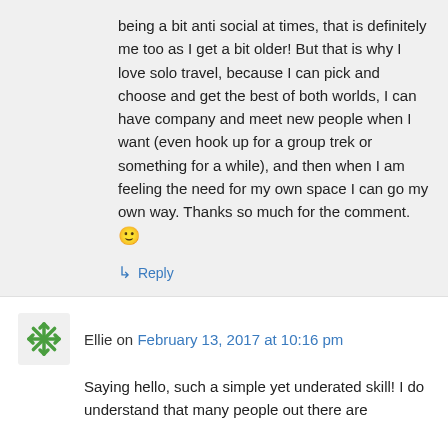being a bit anti social at times, that is definitely me too as I get a bit older! But that is why I love solo travel, because I can pick and choose and get the best of both worlds, I can have company and meet new people when I want (even hook up for a group trek or something for a while), and then when I am feeling the need for my own space I can go my own way. Thanks so much for the comment. 🙂
↳ Reply
Ellie on February 13, 2017 at 10:16 pm
Saying hello, such a simple yet underated skill! I do understand that many people out there are